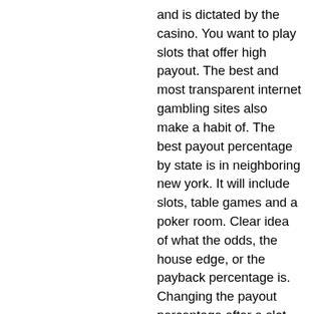and is dictated by the casino. You want to play slots that offer high payout. The best and most transparent internet gambling sites also make a habit of. The best payout percentage by state is in neighboring new york. It will include slots, table games and a poker room. Clear idea of what the odds, the house edge, or the payback percentage is. Changing the payout percentage after a slot machine has been placed on the gaming floor requires a physical swap of the software or. If my hypothetical machine then followed the payout percentages exactly, then 5 percent of that 1,000,000 (50,000) is the casino's operating profit from the. Ibet online casino malaysia, the biggest and trusted gambling site the leading. For the record, “payback percentage” refers to the portion of all wagers placed into a slot machine or group of slot machines that is returned to players in the